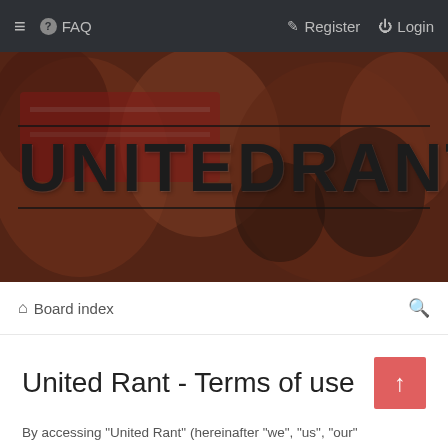≡  ? FAQ    ✎ Register  ⏻ Login
[Figure (photo): Banner image showing football fans in a crowd holding red banners, with large bold text 'UNITEDRANT' overlaid with horizontal lines above and below]
⌂ Board index
United Rant - Terms of use
By accessing "United Rant" (hereinafter "we", "us", "our"